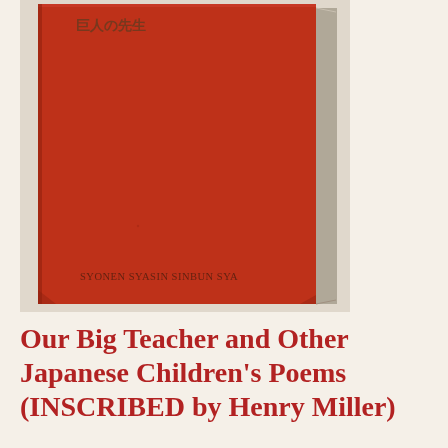[Figure (photo): A red hardcover book photographed from above at a slight angle. The cover is a deep red/crimson color with Japanese characters visible at the top. At the bottom of the cover is printed 'SYONEN SYASIN SINBUN SYA'. The book has a plain red cloth binding. The background is a light cream/beige color.]
Our Big Teacher and Other Japanese Children's Poems (INSCRIBED by Henry Miller)